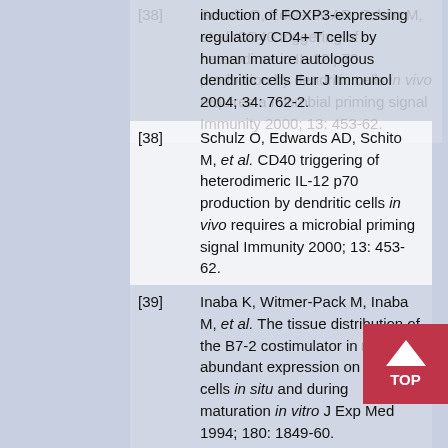[37] (continued) induction of FOXP3-expressing regulatory CD4+ T cells by human mature autologous dendritic cells Eur J Immunol 2004; 34: 762-2.
[38] Schulz O, Edwards AD, Schito M, et al. CD40 triggering of heterodimeric IL-12 p70 production by dendritic cells in vivo requires a microbial priming signal Immunity 2000; 13: 453-62.
[39] Inaba K, Witmer-Pack M, Inaba M, et al. The tissue distribution of the B7-2 costimulator in mice: abundant expression on dendritic cells in situ and during maturation in vitro J Exp Med 1994; 180: 1849-60.
[40] Hawiger D, Inaba K, Dorsett Y, et al. Dendritic cells induce peripheral T cell unresponsiveness under steady state conditions in vivo J Exp Med 2001; 194: 769-9.
[41] McIntyre KW, Shuster DJ, Gillooly KM, et al. Reduced incidence and severity of collagen induced arthritis in interleukin-12-deficient mice Eur J Immunol 1996; 26: 2933-38.
[42] (partial, cut off at bottom)